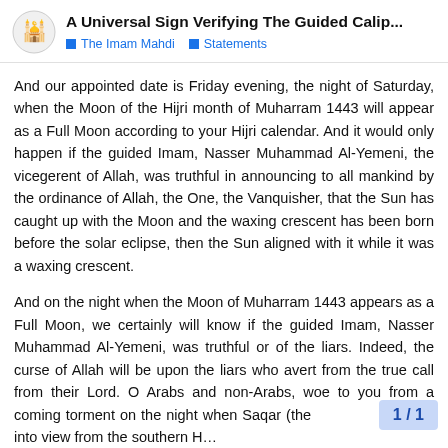A Universal Sign Verifying The Guided Calip... | The Imam Mahdi | Statements
And our appointed date is Friday evening, the night of Saturday, when the Moon of the Hijri month of Muharram 1443 will appear as a Full Moon according to your Hijri calendar. And it would only happen if the guided Imam, Nasser Muhammad Al-Yemeni, the vicegerent of Allah, was truthful in announcing to all mankind by the ordinance of Allah, the One, the Vanquisher, that the Sun has caught up with the Moon and the waxing crescent has been born before the solar eclipse, then the Sun aligned with it while it was a waxing crescent.
And on the night when the Moon of Muharram 1443 appears as a Full Moon, we certainly will know if the guided Imam, Nasser Muhammad Al-Yemeni, was truthful or of the liars. Indeed, the curse of Allah will be upon the liars who avert from the true call from their Lord. O Arabs and non-Arabs, woe to you from a coming torment on the night when Saqar (the comes into view from the southern H…
1 / 1